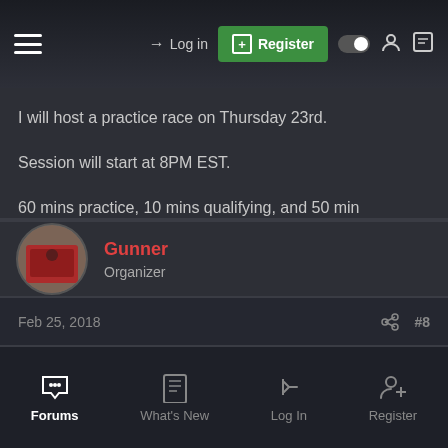Log in | Register
I will host a practice race on Thursday 23rd.
Session will start at 8PM EST.
60 mins practice, 10 mins qualifying, and 50 min race....same rules as usual.
Be sure to configure your TS.
Gunner
Organizer
Feb 25, 2018
#8
Forums | What's New | Log In | Register